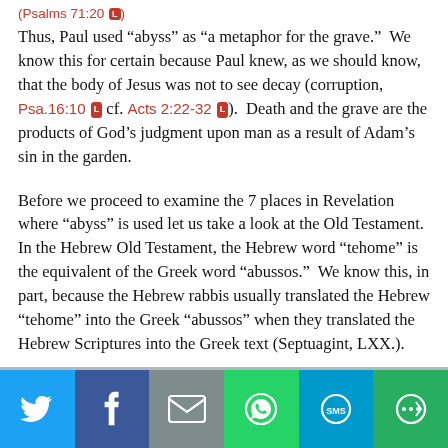(Psalms 71:20 [L])
Thus, Paul used “abyss” as “a metaphor for the grave.”  We know this for certain because Paul knew, as we should know, that the body of Jesus was not to see decay (corruption, Psa.16:10 [L] cf. Acts 2:22-32 [L]).  Death and the grave are the products of God’s judgment upon man as a result of Adam’s sin in the garden.
Before we proceed to examine the 7 places in Revelation where “abyss” is used let us take a look at the Old Testament. In the Hebrew Old Testament, the Hebrew word “tehome” is the equivalent of the Greek word “abussos.”  We know this, in part, because the Hebrew rabbis usually translated the Hebrew “tehome” into the Greek “abussos” when they translated the Hebrew Scriptures into the Greek text (Septuagint, LXX.).
[Figure (infographic): Social media sharing buttons bar at the bottom: Twitter (blue), Facebook (dark blue), Email/envelope (gray), WhatsApp (green), SMS (light blue), More/share (dark green)]